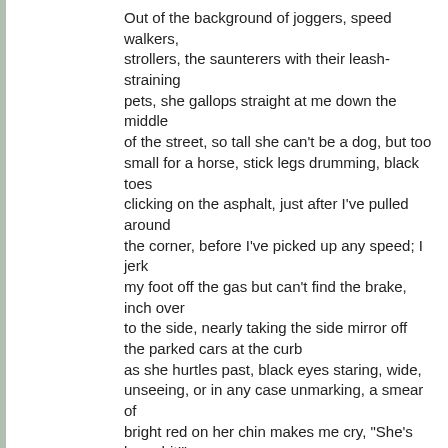Out of the background of joggers, speed walkers, strollers, the saunterers with their leash-straining pets, she gallops straight at me down the middle of the street, so tall she can't be a dog, but too small for a horse, stick legs drumming, black toes clicking on the asphalt, just after I've pulled around the corner, before I've picked up any speed; I jerk my foot off the gas but can't find the brake, inch over to the side, nearly taking the side mirror off the parked cars at the curb as she hurtles past, black eyes staring, wide, unseeing, or in any case unmarking, a smear of bright red on her chin makes me cry, "She's been hit!" to no one who can hear the fawn clatters by, nothing but running, running for her life, for her death
Labels: poetry
posted by bbly @ 8:08 AM   0 comments
24 MARCH 2009
Morning bells